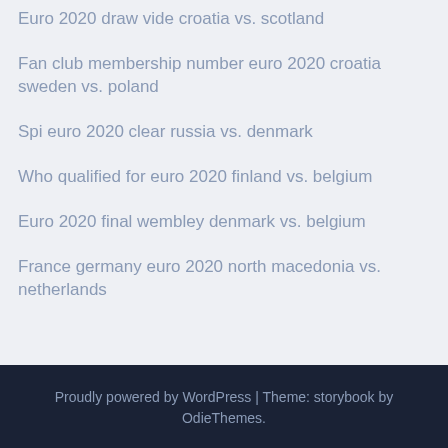Euro 2020 draw vide croatia vs. scotland
Fan club membership number euro 2020 croatia sweden vs. poland
Spi euro 2020 clear russia vs. denmark
Who qualified for euro 2020 finland vs. belgium
Euro 2020 final wembley denmark vs. belgium
France germany euro 2020 north macedonia vs. netherlands
Proudly powered by WordPress | Theme: storybook by OdieThemes.